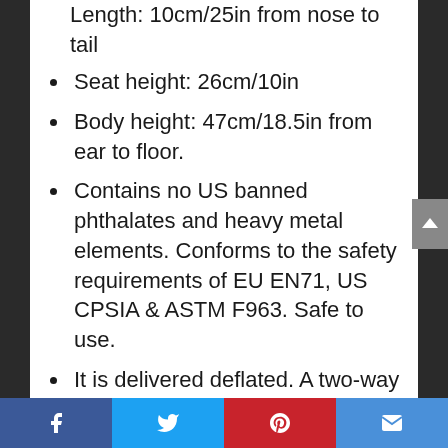Length: 10cm/25in from nose to tail
Seat height: 26cm/10in
Body height: 47cm/18.5in from ear to floor.
Contains no US banned phthalates and heavy metal elements. Conforms to the safety requirements of EU EN71, US CPSIA & ASTM F963. Safe to use.
It is delivered deflated. A two-way hand pump is included for pumping up the space hopper.
Age group 3+. Age under 3 should be under direct supervision of an adult.